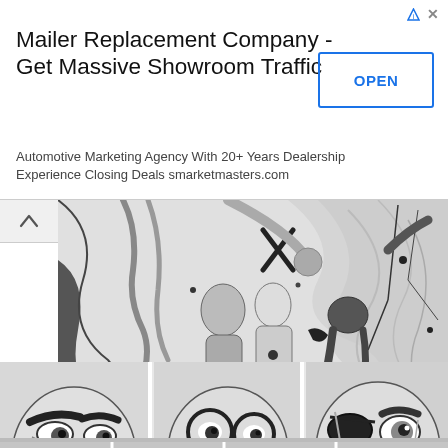[Figure (screenshot): Advertisement banner for Mailer Replacement Company with headline, subtext, and OPEN button]
Mailer Replacement Company - Get Massive Showroom Traffic
Automotive Marketing Agency With 20+ Years Dealership Experience Closing Deals smarketmasters.com
[Figure (illustration): Black and white manga/comic art: large panel showing muscular fighters in a chaotic battle scene with swirling backgrounds]
[Figure (illustration): Black and white manga/comic art: three close-up face panels of intense male characters, one with glasses, one with an eye patch]
[Figure (illustration): Partial bottom strip of manga panels, cut off at page edge]